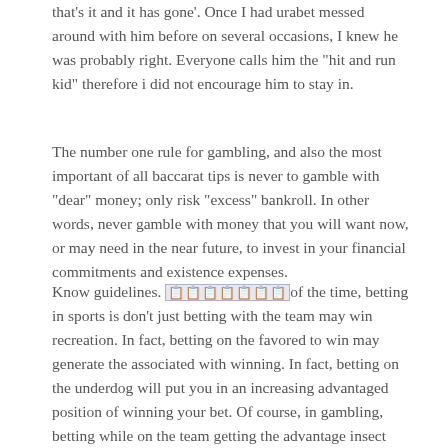that's it and it has gone'. Once I had urabet messed around with him before on several occasions, I knew he was probably right. Everyone calls him the "hit and run kid" therefore i did not encourage him to stay in.
The number one rule for gambling, and also the most important of all baccarat tips is never to gamble with "dear" money; only risk "excess" bankroll. In other words, never gamble with money that you will want now, or may need in the near future, to invest in your financial commitments and existence expenses.
Know guidelines. [link text] of the time, betting in sports is don't just betting with the team may win recreation. In fact, betting on the favored to win may generate the associated with winning. In fact, betting on the underdog will put you in an increasing advantaged position of winning your bet. Of course, in gambling, betting while on the team getting the advantage insect killer team it really is a crowd favorite does not always mean profit for you, so choose and bet wisely.
...